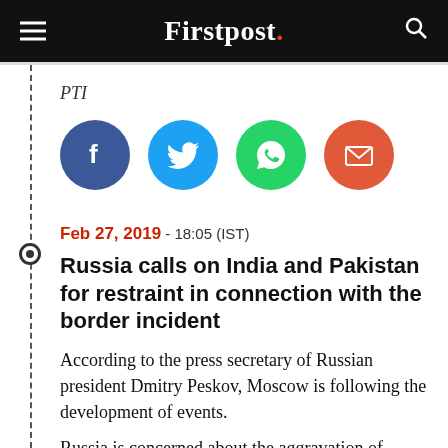Firstpost.
PTI
[Figure (infographic): Social sharing icons: Facebook (blue circle with f), Twitter (light blue circle with bird), WhatsApp (green circle with phone), Email (orange-red circle with envelope)]
Feb 27, 2019 - 18:05 (IST)
Russia calls on India and Pakistan for restraint in connection with the border incident
According to the press secretary of Russian president Dmitry Peskov, Moscow is following the development of events.
Russia is concerned about the aggravation of